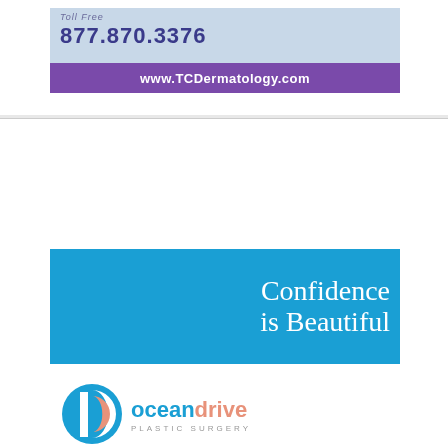[Figure (illustration): TC Dermatology advertisement showing toll free number 877.870.3376 and website www.TCDermatology.com with purple banner]
[Figure (illustration): Ocean Drive Plastic Surgery advertisement with blue header reading 'Confidence is Beautiful', circular logo, address 5070 Hwy A1A | Vero Beach, website oceandriveplasticsurgery.com, phone 772.234.3700, and *Model disclaimer]